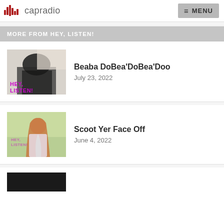capradio  MENU
MORE FROM HEY, LISTEN!
[Figure (photo): Black and white photo with 'HEY, LISTEN!' text overlay in purple/magenta]
Beaba DoBea'DoBea'Doo
July 23, 2022
[Figure (photo): Photo of woman with long red hair on light green background with 'HEY, LISTEN!' text overlay]
Scoot Yer Face Off
June 4, 2022